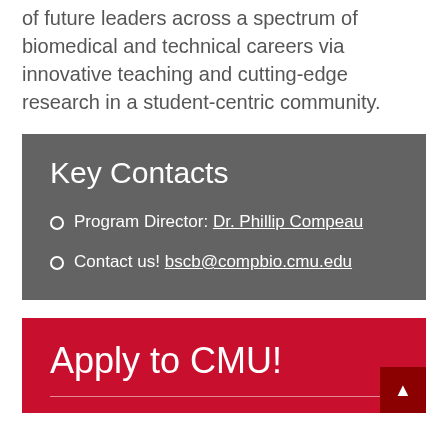of future leaders across a spectrum of biomedical and technical careers via innovative teaching and cutting-edge research in a student-centric community.
Key Contacts
Program Director: Dr. Phillip Compeau
Contact us! bscb@compbio.cmu.edu
Apply to CMU!